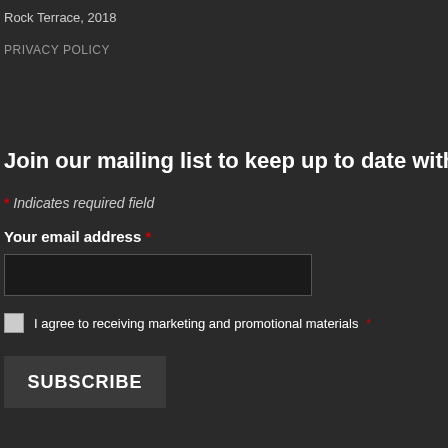Rock Terrace, 2018
PRIVACY POLICY
Join our mailing list to keep up to date with the
* Indicates required field
Your email address *
I agree to receiving marketing and promotional materials *
SUBSCRIBE